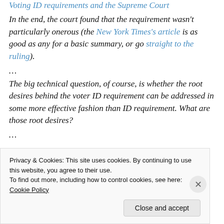Voting ID requirements and the Supreme Court
In the end, the court found that the requirement wasn't particularly onerous (the New York Times's article is as good as any for a basic summary, or go straight to the ruling).
…
The big technical question, of course, is whether the root desires behind the voter ID requirement can be addressed in some more effective fashion than ID requirement. What are those root desires?
…
Privacy & Cookies: This site uses cookies. By continuing to use this website, you agree to their use.
To find out more, including how to control cookies, see here: Cookie Policy